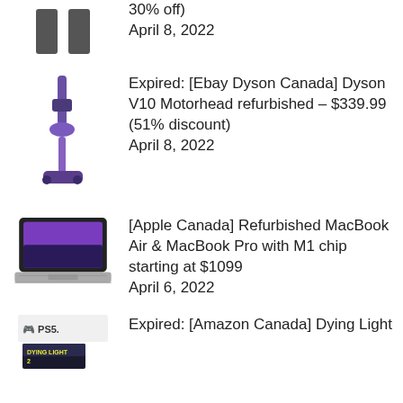30% off)
April 8, 2022
Expired: [Ebay Dyson Canada] Dyson V10 Motorhead refurbished – $339.99 (51% discount)
April 8, 2022
[Apple Canada] Refurbished MacBook Air & MacBook Pro with M1 chip starting at $1099
April 6, 2022
Expired: [Amazon Canada] Dying Light